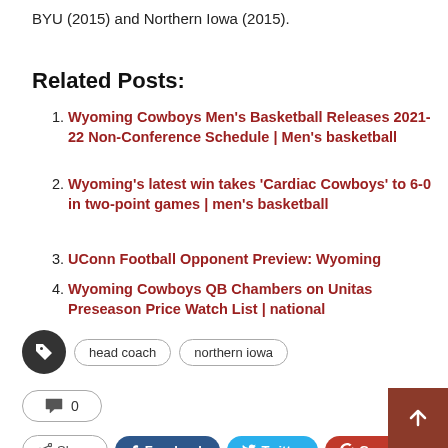BYU (2015) and Northern Iowa (2015).
Related Posts:
Wyoming Cowboys Men's Basketball Releases 2021-22 Non-Conference Schedule | Men's basketball
Wyoming's latest win takes 'Cardiac Cowboys' to 6-0 in two-point games | men's basketball
UConn Football Opponent Preview: Wyoming
Wyoming Cowboys QB Chambers on Unitas Preseason Price Watch List | national
head coach   northern iowa
0
Share   Facebook   Twitter   Google+